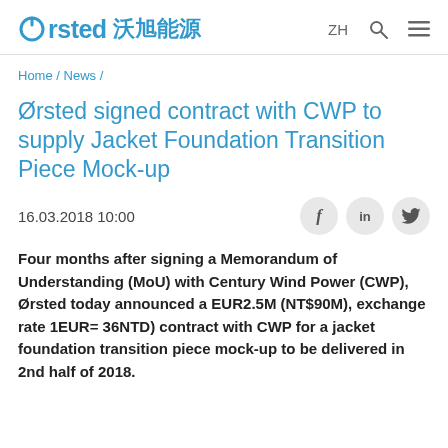Ørsted 沃旭能源  ZH  🔍  ≡
Home / News /
Ørsted signed contract with CWP to supply Jacket Foundation Transition Piece Mock-up
16.03.2018 10:00
Four months after signing a Memorandum of Understanding (MoU) with Century Wind Power (CWP), Ørsted today announced a EUR2.5M (NT$90M), exchange rate 1EUR= 36NTD) contract with CWP for a jacket foundation transition piece mock-up to be delivered in 2nd half of 2018.